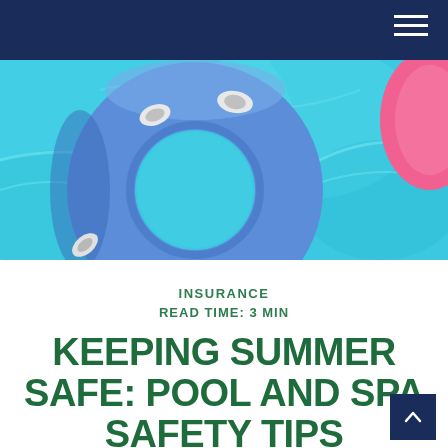[Figure (photo): A blue inflatable ring float in a bright blue swimming pool, with a pink inflatable partially visible in the upper right corner. Top-down view of pool water with light reflections.]
INSURANCE
READ TIME: 3 MIN
KEEPING SUMMER SAFE: POOL AND SPA SAFETY TIPS
The backyard pool can be great summer fun, but it can